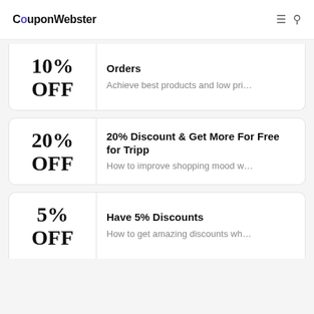CouponWebster
10% OFF — Orders — Achieve best products and low pri...
20% OFF — 20% Discount & Get More For Free for Tripp — How to improve shopping mood w...
5% OFF — Have 5% Discounts — How to get amazing discounts wh...